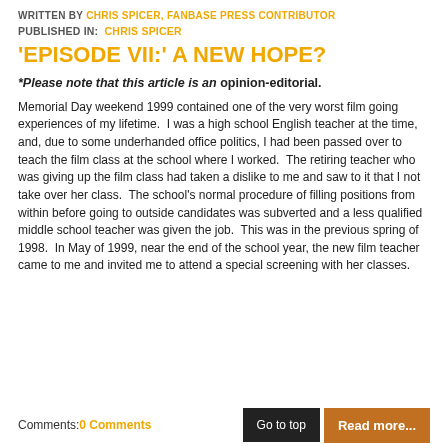WRITTEN BY CHRIS SPICER, FANBASE PRESS CONTRIBUTOR
PUBLISHED IN: CHRIS SPICER
'EPISODE VII:' A NEW HOPE?
*Please note that this article is an opinion-editorial.
Memorial Day weekend 1999 contained one of the very worst film going experiences of my lifetime. I was a high school English teacher at the time, and, due to some underhanded office politics, I had been passed over to teach the film class at the school where I worked. The retiring teacher who was giving up the film class had taken a dislike to me and saw to it that I not take over her class. The school's normal procedure of filling positions from within before going to outside candidates was subverted and a less qualified middle school teacher was given the job. This was in the previous spring of 1998. In May of 1999, near the end of the school year, the new film teacher came to me and invited me to attend a special screening with her classes.
Comments: 0 Comments  |  Go to top  |  Read more...